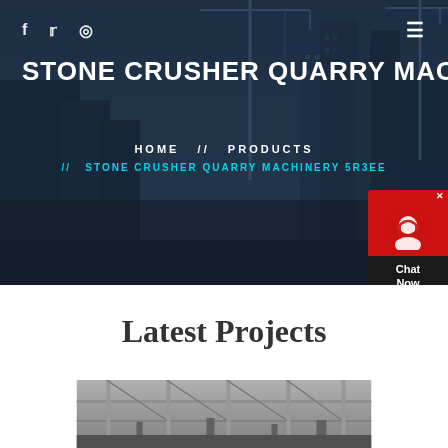STONE CRUSHER QUARRY MACH
HOME // PRODUCTS // STONE CRUSHER QUARRY MACHINERY 5R3EE
[Figure (photo): Construction site background with cranes and buildings at dusk, dark overlay]
Latest Projects
[Figure (photo): Industrial/construction project photo showing scaffolding or machinery in grayscale]